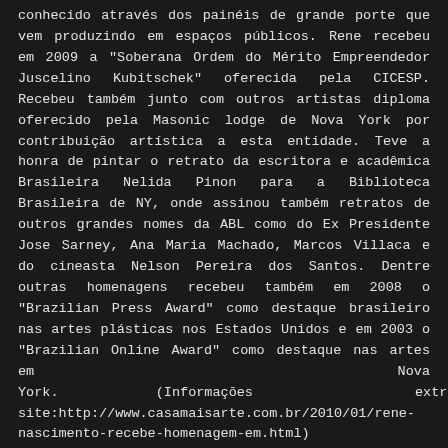conhecido através dos painéis de grande porte que vem produzindo em espaços públicos. Rene recebeu em 2009 a "Soberana Ordem do Mérito Empreendedor Juscelino Kubitschek" oferecida pela CICESP. Recebeu também junto com outros artistas diploma oferecido pela Masonic lodge de Nova York por contribuição artística a esta entidade. Teve a honra de pintar o retrato da escritora e acadêmica Brasileira Nelida Pinon para a Biblioteca Brasileira de NY, onde assinou também retratos de outros grandes nomes da ABL como do Ex Presidente Jose Sarney, Ana Maria Machado, Marcos Villaca e do cineasta Nelson Pereira dos Santos. Dentre outras homenagens recebeu também em 2008 o "Brazilian Press Award" como destaque brasileiro nas artes plásticas nos Estados Unidos e em 2003 o "Brazilian Online Award" como destaque nas artes em Nova York. (Informações extraídas do site:http://www.casamaisarte.com.br/2010/01/rene-nascimento-recebe-homenagem-em.html)
Graduado pela EBA, UFMG, BH. Fez cursos na Escola de Artes Visuais do Parque Lage, RJ e na FAAP, SP.
Exposições coletivas: Studio de Arte, BH (1982); Galeria Guignard, BH (1983); Feira de Desenhos e Gravuras, Telemig, BH (1984); 1990+11, Centro Cultural UFMG, BH (1990); 10 Talentos, Galeria de Arte